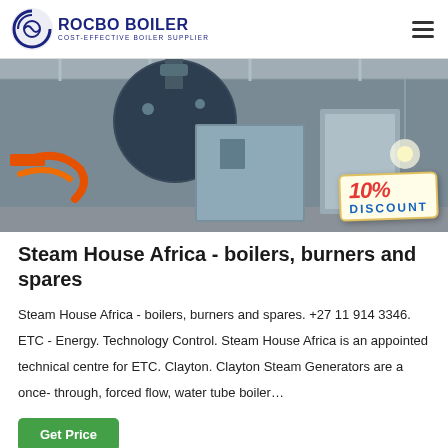ROCBO BOILER — COST-EFFECTIVE BOILER SUPPLIER
[Figure (photo): Industrial boiler equipment inside a warehouse facility with a 10% DISCOUNT badge overlay]
Steam House Africa - boilers, burners and spares
Steam House Africa - boilers, burners and spares. +27 11 914 3346. ETC - Energy. Technology Control. Steam House Africa is an appointed technical centre for ETC. Clayton. Clayton Steam Generators are a once- through, forced flow, water tube boiler…
Get Price